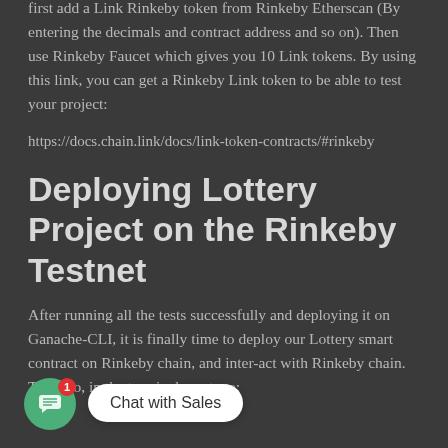first add a Link Rinkeby token from Rinkeby Etherscan (By entering the decimals and contract address and so on). Then use Rinkeby Faucet which gives you 10 Link tokens. By using this link, you can get a Rinkeby Link token to be able to test your project:
https://docs.chain.link/docs/link-token-contracts/#rinkeby
Deploying Lottery Project on the Rinkeby Testnet
After running all the tests successfully and deploying it on Ganache-CLI, it is finally time to deploy our Lottery smart contract on Rinkeby chain, and inter-act w... si... R... n. To do so, in the te... al, we type: